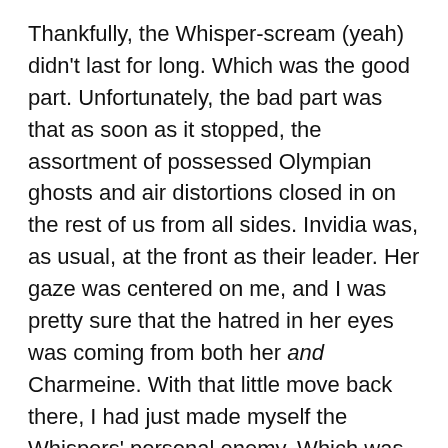Thankfully, the Whisper-scream (yeah) didn't last for long. Which was the good part. Unfortunately, the bad part was that as soon as it stopped, the assortment of possessed Olympian ghosts and air distortions closed in on the rest of us from all sides. Invidia was, as usual, at the front as their leader. Her gaze was centered on me, and I was pretty sure that the hatred in her eyes was coming from both her and Charmeine. With that little move back there, I had just made myself the Whispers' personal enemy. Which was just fantastic, because I didn't have enough of those anymore. Definitely needed to add a few more to the list.
“You,” Invidia snarled, that single word containing about a decade’s recommended allotment of spite. “You are–”
In mid-sentence, she abruptly vanished from that spot just as my mother appeared there, sword slashing through the